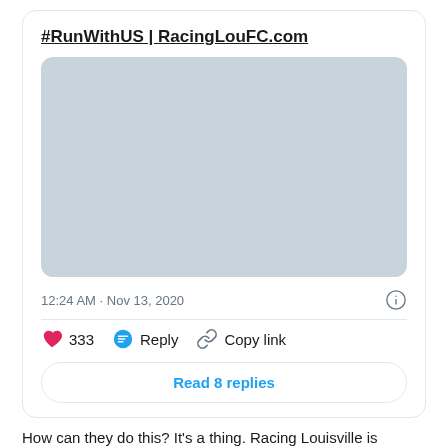#RunWithUS | RacingLouFC.com
[Figure (screenshot): Gray placeholder image inside tweet card]
12:24 AM · Nov 13, 2020
333  Reply  Copy link
Read 8 replies
How can they do this? It's a thing. Racing Louisville is